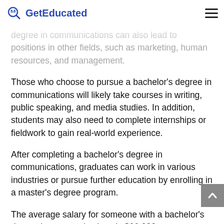GetEducated
degree in communications can also lead to positions in other fields, such as marketing, human resources, and management.
Those who choose to pursue a bachelor's degree in communications will likely take courses in writing, public speaking, and media studies. In addition, students may also need to complete internships or fieldwork to gain real-world experience.
After completing a bachelor's degree in communications, graduates can work in various industries or pursue further education by enrolling in a master's degree program.
The average salary for someone with a bachelor's degree in communications is $66,000 per year. However, salaries will vary depending on the specific industry and position. For example, those who work in public relations may earn a higher salary than those in advertising. Additionally, salaries will also depend on experience, education, and